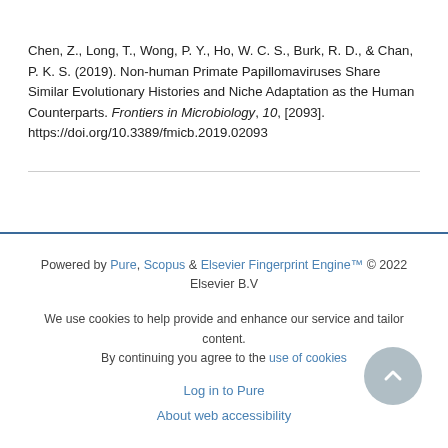Chen, Z., Long, T., Wong, P. Y., Ho, W. C. S., Burk, R. D., & Chan, P. K. S. (2019). Non-human Primate Papillomaviruses Share Similar Evolutionary Histories and Niche Adaptation as the Human Counterparts. Frontiers in Microbiology, 10, [2093]. https://doi.org/10.3389/fmicb.2019.02093
Powered by Pure, Scopus & Elsevier Fingerprint Engine™ © 2022 Elsevier B.V
We use cookies to help provide and enhance our service and tailor content. By continuing you agree to the use of cookies
Log in to Pure
About web accessibility